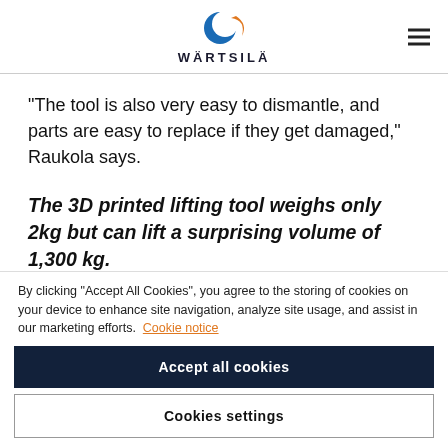WÄRTSILÄ
“The tool is also very easy to dismantle, and parts are easy to replace if they get damaged,” Raukola says.
The 3D printed lifting tool weighs only 2kg but can lift a surprising volume of 1,300 kg.
By clicking “Accept All Cookies”, you agree to the storing of cookies on your device to enhance site navigation, analyze site usage, and assist in our marketing efforts. Cookie notice
Accept all cookies
Cookies settings